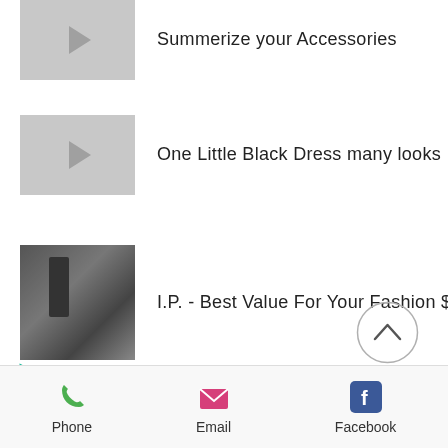[Figure (screenshot): Video thumbnail with play button (partial, top of page) for 'Summerize your Accessories']
Summerize your Accessories
[Figure (screenshot): Video thumbnail with gray play button]
One Little Black Dress many looks
[Figure (photo): Fashion photo showing two people in dark clothing]
I.P. - Best Value For Your Fashion $$
[Figure (other): Circle scroll-to-top button with upward chevron]
A Message From I.P.
Phone   Email   Facebook